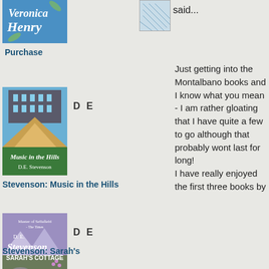[Figure (illustration): Book cover of Veronica Henry (blue cover, partially visible at top)]
Purchase
[Figure (illustration): Avatar/profile image thumbnail with geometric pattern (blue/white)]
P said...
Just getting into the Montalbano books and I know what you mean - I am rather gloating that I have quite a few to go although that probably wont last for long!
I have really enjoyed the first three books by
[Figure (illustration): Book cover of D.E. Stevenson: Music in the Hills]
D E
Stevenson: Music in the Hills
[Figure (illustration): Book cover of D.E. Stevenson: Sarah's Cottage]
D E
Stevenson: Sarah's